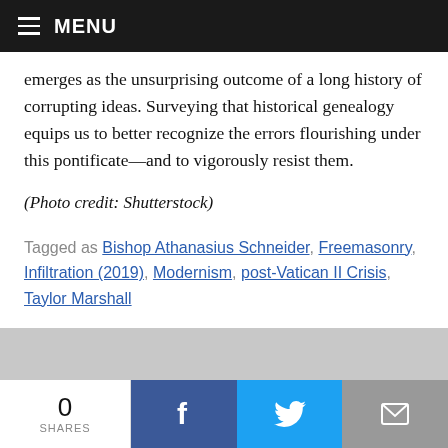MENU
emerges as the unsurprising outcome of a long history of corrupting ideas. Surveying that historical genealogy equips us to better recognize the errors flourishing under this pontificate—and to vigorously resist them.
(Photo credit: Shutterstock)
Tagged as Bishop Athanasius Schneider, Freemasonry, Infiltration (2019), Modernism, post-Vatican II Crisis, Taylor Marshall